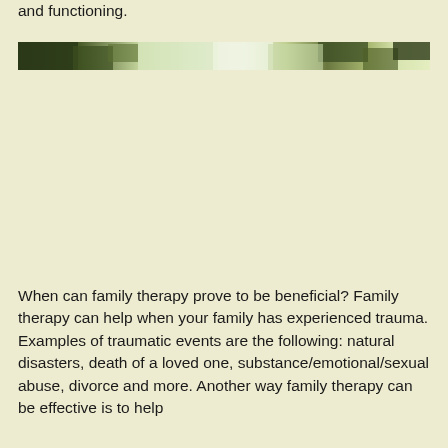and functioning.
[Figure (photo): A narrow horizontal strip showing an outdoor scene with trees and foliage, appearing as a cropped photographic image with green and white tones.]
When can family therapy prove to be beneficial? Family therapy can help when your family has experienced trauma. Examples of traumatic events are the following: natural disasters, death of a loved one, substance/emotional/sexual abuse, divorce and more. Another way family therapy can be effective is to help